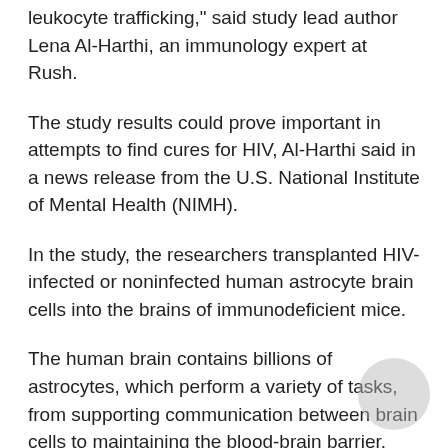leukocyte trafficking," said study lead author Lena Al-Harthi, an immunology expert at Rush.
The study results could prove important in attempts to find cures for HIV, Al-Harthi said in a news release from the U.S. National Institute of Mental Health (NIMH).
In the study, the researchers transplanted HIV-infected or noninfected human astrocyte brain cells into the brains of immunodeficient mice.
The human brain contains billions of astrocytes, which perform a variety of tasks, from supporting communication between brain cells to maintaining the blood-brain barrier.
The researchers found that the transplanted HIV-infected astrocytes were able to spread the virus to CD4-positive T immune cells in the brain. These immune cells then migrated out of the